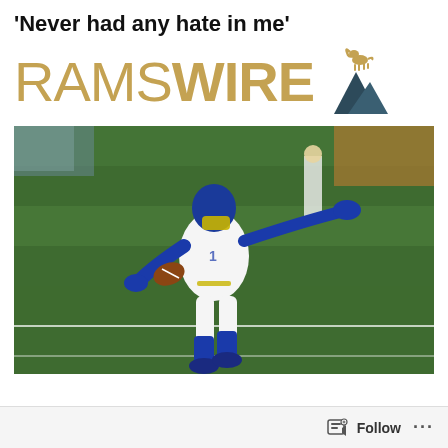'Never had any hate in me'
[Figure (logo): Rams Wire logo with golden text 'RAMS WIRE' and a ram mascot icon on a mountain]
[Figure (photo): LA Rams football player in white and blue uniform running with the ball on a green field]
Follow ...